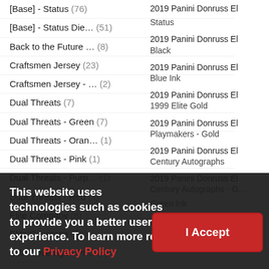[Base] - Status (76)
[Base] - Status Die… (51)
Back to the Future … (8)
Craftsmen Jersey (23)
Craftsmen Jersey - … (2)
Dual Threats (7)
Dual Threats - Green (7)
Dual Threats - Oran… (1)
Dual Threats - Pink (1)
Dual Threats - Purp… (1)
Dual Threats - Red (4)
Elite Company (8)
Elite Coverage (28)
Elite Coverage - Pr… (4)
Elite Rookie Autogr… (1)
2019 Panini Donruss El Status
2019 Panini Donruss El Black
2019 Panini Donruss El Blue Ink
2019 Panini Donruss El 1999 Elite Gold
2019 Panini Donruss El Playmakers - Gold
2019 Panini Donruss El Century Autographs
2019 Panini Donruss El Century Autographs - G…
Green Ink
This website uses technologies such as cookies to provide you a better user experience. To learn more refer to our Privacy Policy
I Accept